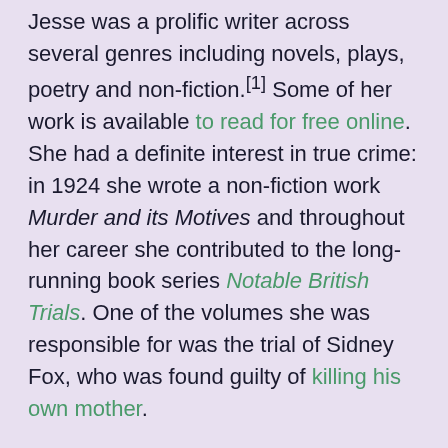Jesse was a prolific writer across several genres including novels, plays, poetry and non-fiction.[1] Some of her work is available to read for free online. She had a definite interest in true crime: in 1924 she wrote a non-fiction work Murder and its Motives and throughout her career she contributed to the long-running book series Notable British Trials. One of the volumes she was responsible for was the trial of Sidney Fox, who was found guilty of killing his own mother.
In A Pin To See The Peepshow Edith Thompson is transformed into Julia Almond, a young, somewhat pretty woman who, like Edith Thompson, works in a women's fashion boutique and ends up marrying to a man she finds dreadfully dull. The strength of the book is that Julia is not necessarily a sympathetic character, the reader does sympathise